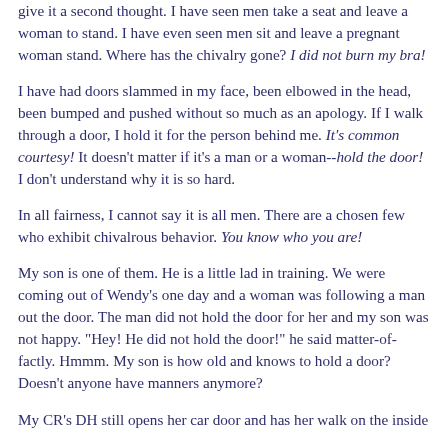give it a second thought. I have seen men take a seat and leave a woman to stand. I have even seen men sit and leave a pregnant woman stand. Where has the chivalry gone? I did not burn my bra!
I have had doors slammed in my face, been elbowed in the head, been bumped and pushed without so much as an apology. If I walk through a door, I hold it for the person behind me. It's common courtesy! It doesn't matter if it's a man or a woman--hold the door! I don't understand why it is so hard.
In all fairness, I cannot say it is all men. There are a chosen few who exhibit chivalrous behavior. You know who you are!
My son is one of them. He is a little lad in training. We were coming out of Wendy's one day and a woman was following a man out the door. The man did not hold the door for her and my son was not happy. "Hey! He did not hold the door!" he said matter-of-factly. Hmmm. My son is how old and knows to hold a door? Doesn't anyone have manners anymore?
My CR's DH still opens her car door and has her walk on the inside